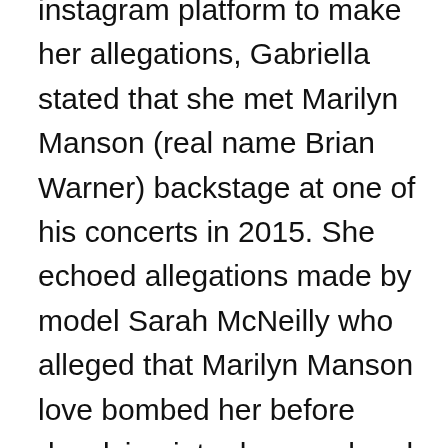instagram platform to make her allegations, Gabriella stated that she met Marilyn Manson (real name Brian Warner) backstage at one of his concerts in 2015. She echoed allegations made by model Sarah McNeilly who alleged that Marilyn Manson love bombed her before devolving into depraved and terrorizing behavior. According to Gabriella's statement, Manson quickly wooed her, fed her drugs, and on their second meeting, broke a wine glass, and cut both of their hands so the two would enter a blood pact. She then described their six-month romantic relationship as one where Manson exhibited control over her through tactics of manipulation, intimidation, fear, and sexual violence.  She alleged that Manson repeatedly tied